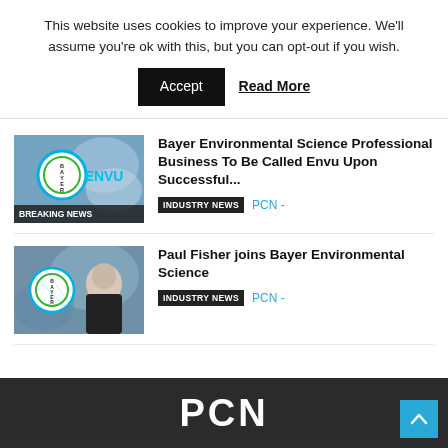This website uses cookies to improve your experience. We'll assume you're ok with this, but you can opt-out if you wish.
Accept  Read More
[Figure (screenshot): Thumbnail image with Bayer logo circle, ENVU text, and BREAKING NEWS banner]
Bayer Environmental Science Professional Business To Be Called Envu Upon Successful...
INDUSTRY NEWS  PCN -
[Figure (photo): Thumbnail image with Bayer logo circle and photo of Paul Fisher]
Paul Fisher joins Bayer Environmental Science
INDUSTRY NEWS  PCN -
PCN